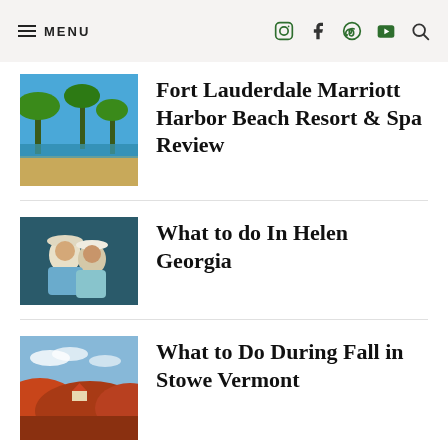MENU
Fort Lauderdale Marriott Harbor Beach Resort & Spa Review
What to do In Helen Georgia
What to Do During Fall in Stowe Vermont
Eleuthera,